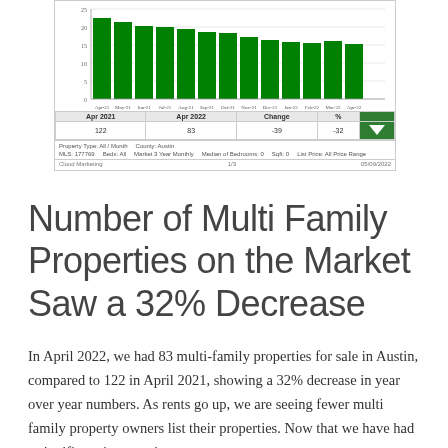[Figure (bar-chart): Number of Multi Family Properties on the Market]
| Apr 2021 | Apr 2022 | Change | % |
| --- | --- | --- | --- |
| 122 | 83 | -39 | -32 |
Number of Multi Family Properties on the Market Saw a 32% Decrease
In April 2022, we had 83 multi-family properties for sale in Austin, compared to 122 in April 2021, showing a 32% decrease in year over year numbers. As rents go up, we are seeing fewer multi family property owners list their properties. Now that we have had a significant increase in county